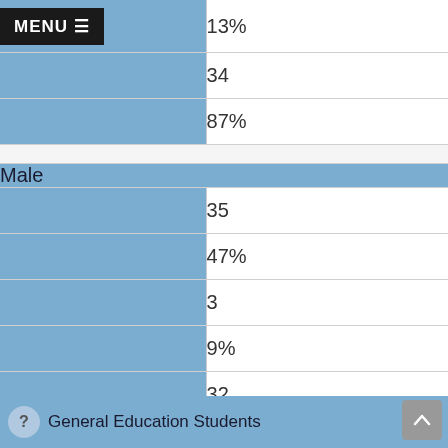|  | Value |
| --- | --- |
|  | 13% |
|  | 34 |
|  | 87% |
| Male |  |
|  | 35 |
|  | 47% |
|  | 3 |
|  | 9% |
|  | 32 |
|  | 91% |
General Education Students